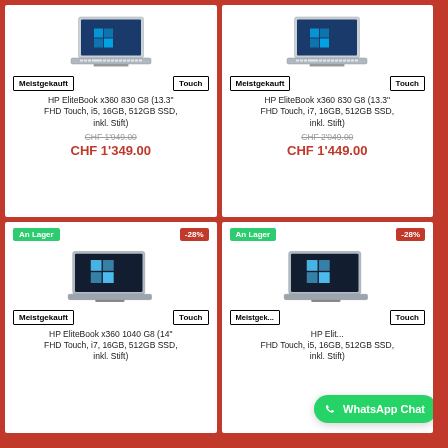[Figure (photo): HP EliteBook x360 830 G8 laptop, silver, open, top-left product card]
Meistgekauft | Touch
HP EliteBook x360 830 G8 (13.3" FHD Touch, i5, 16GB, 512GB SSD, inkl. Stift)
CHF 1'949.00 (strikethrough)
CHF 1'349.00
[Figure (photo): HP EliteBook x360 830 G8 laptop, silver, open, top-right product card]
Meistgekauft | Touch
HP EliteBook x360 830 G8 (13.3" FHD Touch, i7, 16GB, 512GB SSD, inkl. Stift)
CHF 2'049.00 (strikethrough)
CHF 1'449.00
[Figure (photo): HP EliteBook x360 1040 G8 laptop, silver, open, bottom-left product card]
An Lager | -28%
Meistgekauft | Touch
HP EliteBook x360 1040 G8 (14" FHD Touch, i7, 16GB, 512GB SSD, inkl. Stift)
[Figure (photo): HP EliteBook x360 laptop, silver, open, bottom-right product card]
An Lager | -28%
Meistgekauft | Touch
HP EliteBook x360 (FHD Touch, i5, 16GB, 512GB SSD, inkl. Stift)
WhatsApp Chat